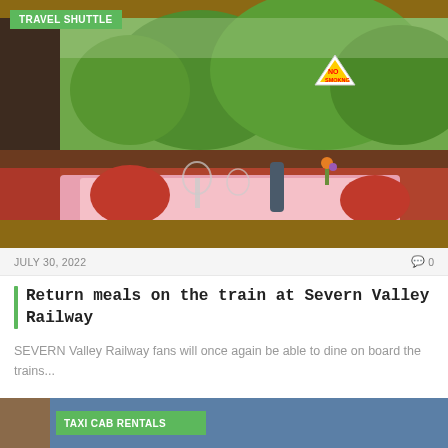[Figure (photo): Interior of a railway dining car with red cloth napkins, wine glasses, water bottle and flowers on a pink tablecloth, with green trees visible through large windows. A 'NO SMOKING' sign visible in window area.]
TRAVEL SHUTTLE
JULY 30, 2022
💬 0
Return meals on the train at Severn Valley Railway
SEVERN Valley Railway fans will once again be able to dine on board the trains...
[Figure (photo): Partial view of a taxi cab rentals article image, blue tones]
TAXI CAB RENTALS